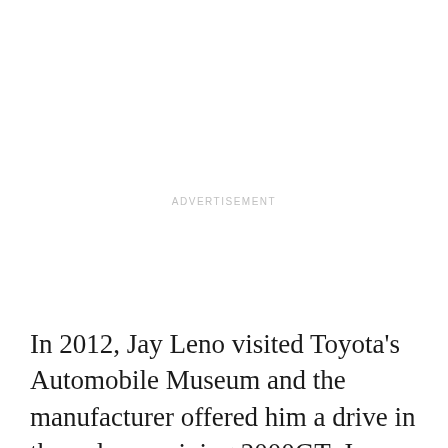ADVERTISEMENT
In 2012, Jay Leno visited Toyota's Automobile Museum and the manufacturer offered him a drive in the only remaining 2000GT. Jay Leno was starstruck by James Bond's sports car. He swooned over the nimble convertible and